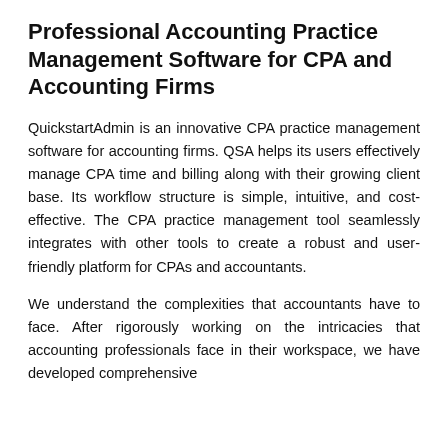Professional Accounting Practice Management Software for CPA and Accounting Firms
QuickstartAdmin is an innovative CPA practice management software for accounting firms. QSA helps its users effectively manage CPA time and billing along with their growing client base. Its workflow structure is simple, intuitive, and cost-effective. The CPA practice management tool seamlessly integrates with other tools to create a robust and user-friendly platform for CPAs and accountants.
We understand the complexities that accountants have to face. After rigorously working on the intricacies that accounting professionals face in their workspace, we have developed comprehensive